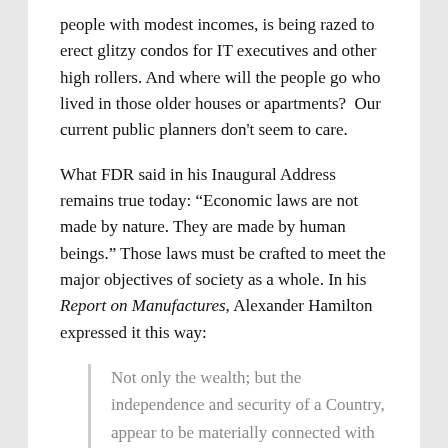people with modest incomes, is being razed to erect glitzy condos for IT executives and other high rollers. And where will the people go who lived in those older houses or apartments?  Our current public planners don't seem to care.
What FDR said in his Inaugural Address remains true today: “Economic laws are not made by nature. They are made by human beings.” Those laws must be crafted to meet the major objectives of society as a whole. In his Report on Manufactures, Alexander Hamilton expressed it this way:
Not only the wealth; but the independence and security of a Country, appear to be materially connected with the prosperity of manufactures. Every nation, with a view to those great objects, ought to endeavour to